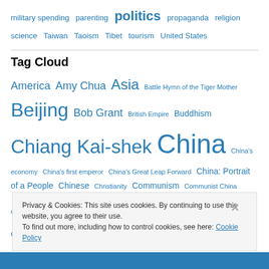military spending  parenting  politics  propaganda  religion  science  Taiwan  Taoism  Tibet  tourism  United States
Tag Cloud
America  Amy Chua  Asia  Battle Hymn of the Tiger Mother  Beijing  Bob Grant  British Empire  Buddhism  Chiang Kai-shek  China  China's economy  China's first emperor  China's Great Leap Forward  China: Portrait of a People  Chinese  Christianity  Communism  Communist China  confirmation bias  Confucianism  Confucius  corruption in China  cultural revolution
Privacy & Cookies: This site uses cookies. By continuing to use this website, you agree to their use. To find out more, including how to control cookies, see here: Cookie Policy